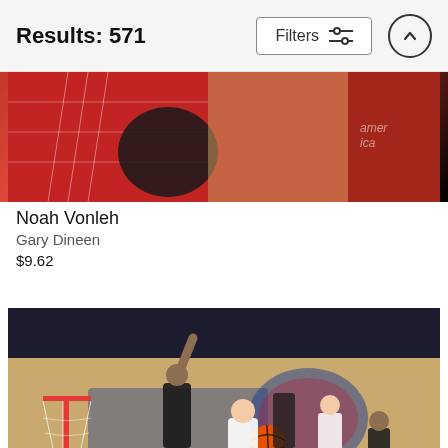Results: 571
[Figure (photo): Basketball game photo - top partial crop showing red and black jersey, court, basketball hoop net visible]
Noah Vonleh
Gary Dineen
$9.62
[Figure (photo): NBA basketball game aerial view of New York Knicks court, player in white Knicks jersey holding basketball near the hoop while a Portland Trail Blazers player in black jersey number 11 defends, other players visible, crowd in background, fine art america watermark]